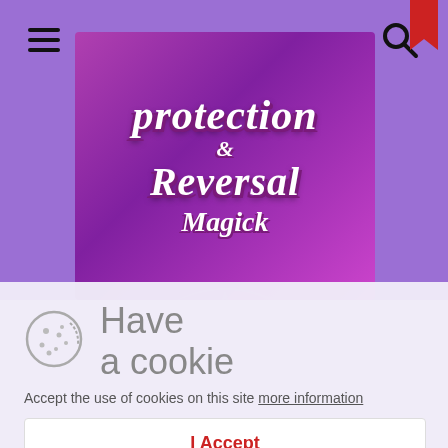[Figure (screenshot): Website screenshot showing purple navigation bar with hamburger menu and search icon, a book cover image for 'Protection & Reversal Magick' on a purple background, a bookmark icon, and a cookie consent overlay at the bottom with cookie icon, 'Have a cookie' heading, acceptance text, and 'I Accept' button.]